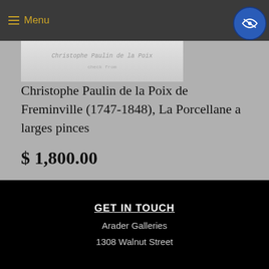Menu
[Figure (photo): Partial view of a book or document cover with faint handwritten or printed text, light gray/white tones]
Christophe Paulin de la Poix de Freminville (1747-1848), La Porcellane a larges pinces
$ 1,800.00
GET IN TOUCH
Arader Galleries
1308 Walnut Street